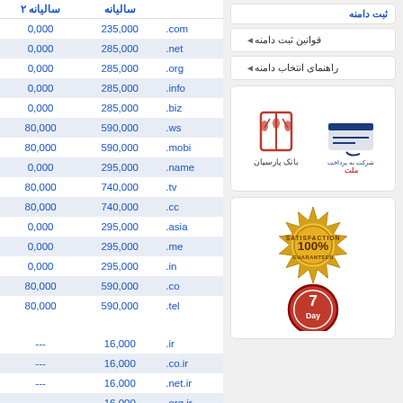| سالیانه ۲ | سالیانه |  |
| --- | --- | --- |
| 0,000 | 235,000 | .com |
| 0,000 | 285,000 | .net |
| 0,000 | 285,000 | .org |
| 0,000 | 285,000 | .info |
| 0,000 | 285,000 | .biz |
| 80,000 | 590,000 | .ws |
| 80,000 | 590,000 | .mobi |
| 0,000 | 295,000 | .name |
| 80,000 | 740,000 | .tv |
| 80,000 | 740,000 | .cc |
| 0,000 | 295,000 | .asia |
| 0,000 | 295,000 | .me |
| 0,000 | 295,000 | .in |
| 80,000 | 590,000 | .co |
| 80,000 | 590,000 | .tel |
| --- | 16,000 | .ir |
| --- | 16,000 | .co.ir |
| --- | 16,000 | .net.ir |
| --- | 16,000 | .org.ir |
| --- | 16,000 | .sch.ir |
| --- | 16,000 | .id.ir |
قوانین ثبت دامنه
راهنمای انتخاب دامنه
[Figure (logo): Bank Parsian logo and Mellat payment company logo]
[Figure (illustration): 100% Satisfaction Guaranteed gold seal badge and 7 Day red badge]